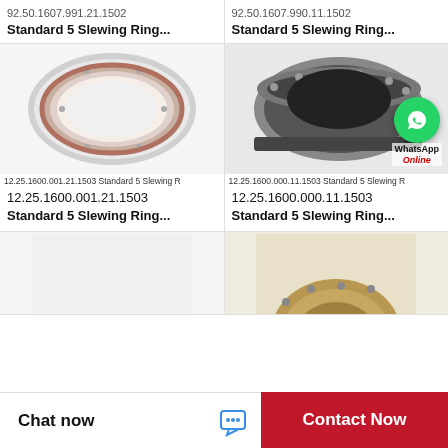92.50.1607.991.21.1502 Standard 5 Slewing Ring...
92.50.1607.990.11.1502 Standard 5 Slewing Ring...
[Figure (photo): Silver slewing ring bearing, flat profile, internal gear teeth visible, top-down view on white background]
[Figure (photo): Dark gray heavy-duty slewing ring bearing with external gear teeth and bolt holes, 3/4 view, with WhatsApp Online overlay]
12.25.1600.001.21.1503 Standard 5 Slewing R
12.25.1600.000.11.1503 Standard 5 Slewing R
12.25.1600.001.21.1503 Standard 5 Slewing Ring...
12.25.1600.000.11.1503 Standard 5 Slewing Ring...
[Figure (photo): Partial view of third slewing ring product, bottom of page, cut off]
[Figure (photo): Partial view of fourth slewing ring product, golden/bronze colored, bottom of page, cut off]
Chat now
Contact Now